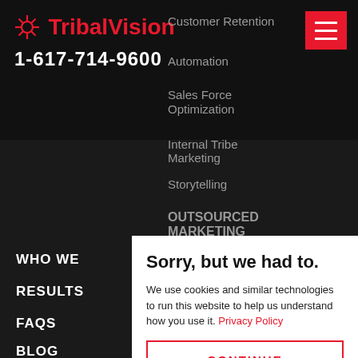TribalVision | 1-617-714-9600
Customer Retention
Automation
Sales Force Optimization
Internal Tribe Marketing
Storytelling
OUTSOURCED MARKETING
WHO WE
RESULTS
FAQS
BLOG
Sorry, but we had to.
We use cookies and similar technologies to run this website to help us understand how you use it. Privacy Policy
CONTINUE